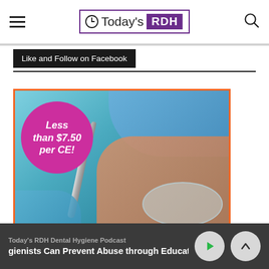Today's RDH
Like and Follow on Facebook
[Figure (photo): Dental hygiene advertisement showing a patient receiving dental treatment with a pink circle badge overlay reading 'Less than $7.50 per CE!']
Today's RDH Dental Hygiene Podcast — gienists Can Prevent Abuse through Education